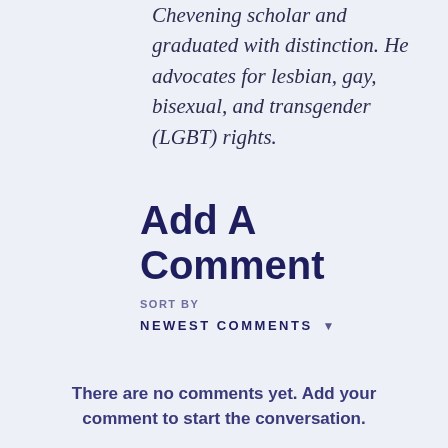Chevening scholar and graduated with distinction. He advocates for lesbian, gay, bisexual, and transgender (LGBT) rights.
Add A Comment
SORT BY
NEWEST COMMENTS
There are no comments yet. Add your comment to start the conversation.